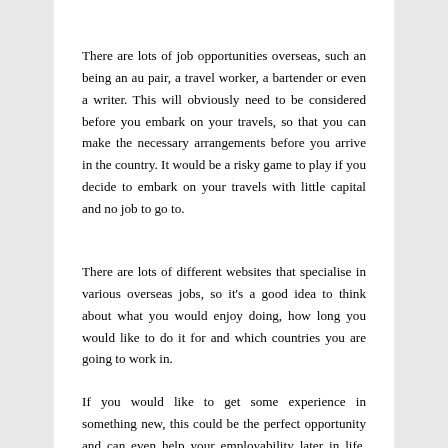There are lots of job opportunities overseas, such an being an au pair, a travel worker, a bartender or even a writer. This will obviously need to be considered before you embark on your travels, so that you can make the necessary arrangements before you arrive in the country. It would be a risky game to play if you decide to embark on your travels with little capital and no job to go to.
There are lots of different websites that specialise in various overseas jobs, so it's a good idea to think about what you would enjoy doing, how long you would like to do it for and which countries you are going to work in.
If you would like to get some experience in something new, this could be the perfect opportunity and can even help your employability later in life. Additionally, this will help you to make new friends and acquaintances on your